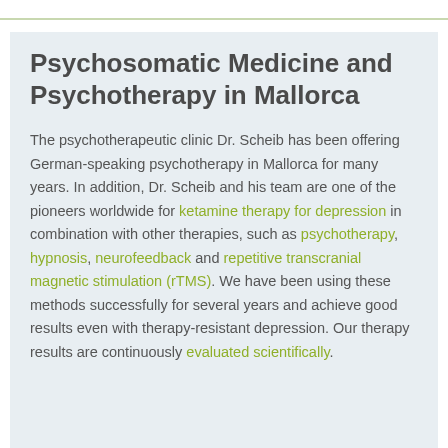Psychosomatic Medicine and Psychotherapy in Mallorca
The psychotherapeutic clinic Dr. Scheib has been offering German-speaking psychotherapy in Mallorca for many years. In addition, Dr. Scheib and his team are one of the pioneers worldwide for ketamine therapy for depression in combination with other therapies, such as psychotherapy, hypnosis, neurofeedback and repetitive transcranial magnetic stimulation (rTMS). We have been using these methods successfully for several years and achieve good results even with therapy-resistant depression. Our therapy results are continuously evaluated scientifically.